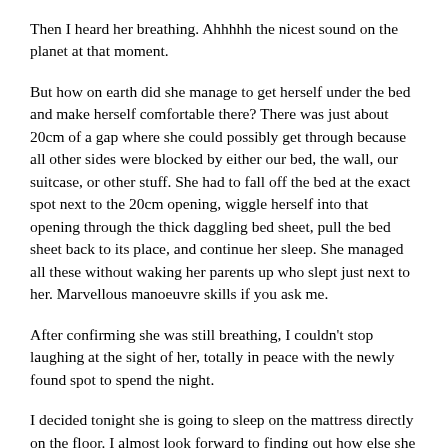Then I heard her breathing. Ahhhhh the nicest sound on the planet at that moment.
But how on earth did she manage to get herself under the bed and make herself comfortable there? There was just about 20cm of a gap where she could possibly get through because all other sides were blocked by either our bed, the wall, our suitcase, or other stuff. She had to fall off the bed at the exact spot next to the 20cm opening, wiggle herself into that opening through the thick daggling bed sheet, pull the bed sheet back to its place, and continue her sleep. She managed all these without waking her parents up who slept just next to her. Marvellous manoeuvre skills if you ask me.
After confirming she was still breathing, I couldn't stop laughing at the sight of her, totally in peace with the newly found spot to spend the night.
I decided tonight she is going to sleep on the mattress directly on the floor. I almost look forward to finding out how else she could possibly surprise her parents, again.